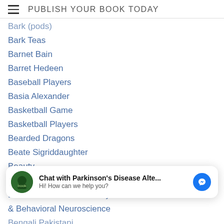PUBLISH YOUR BOOK TODAY
Bark (pods)
Bark Teas
Barnet Bain
Barret Hedeen
Baseball Players
Basia Alexander
Basketball Game
Basketball Players
Bearded Dragons
Beate Sigriddaughter
Beauty
Beauty Of Poetry
Before And After Dictionary Poems
& Behavioral Neuroscience
Chat with Parkinson's Disease Alte... Hi! How can we help you?
Bengali Pakistani
Benign Joint Hypermobility